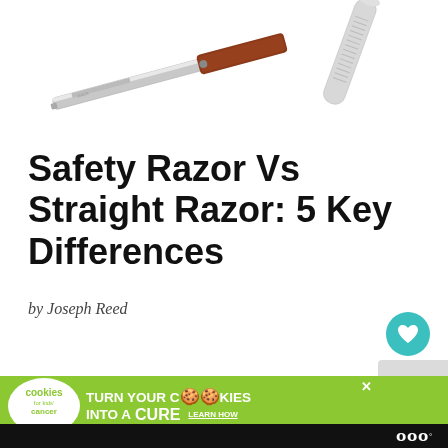[Figure (photo): Two razors partially visible at top: a straight razor with wooden handle on the left, and a safety razor handle on the right, against white background]
Safety Razor Vs Straight Razor: 5 Key Differences
by Joseph Reed
[Figure (photo): Person with dark curly hair, partially visible, with a 'What's Next' panel overlay showing 'Fact or Myth: Native...' with thumbnail]
[Figure (infographic): Advertisement banner: cookies for kids cancer - turn your COOKIES into a CURE LEARN HOW]